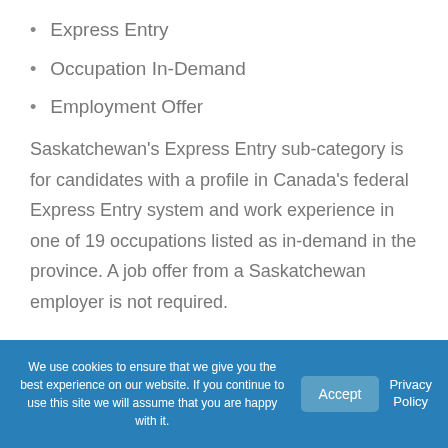Express Entry
Occupation In-Demand
Employment Offer
Saskatchewan's Express Entry sub-category is for candidates with a profile in Canada's federal Express Entry system and work experience in one of 19 occupations listed as in-demand in the province. A job offer from a Saskatchewan employer is not required.
We use cookies to ensure that we give you the best experience on our website. If you continue to use this site we will assume that you are happy with it.